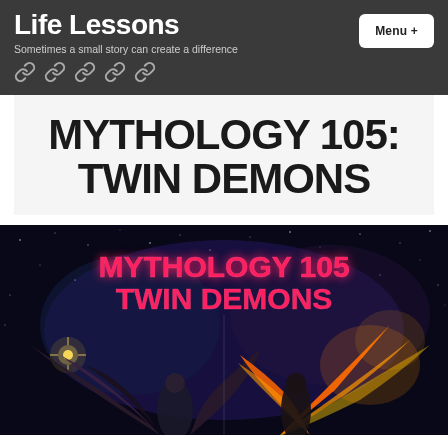Life Lessons
Sometimes a small story can create a difference
MYTHOLOGY 105: TWIN DEMONS
[Figure (illustration): Decorative banner image showing two winged demon figures against a starry dark background with neon glowing text reading 'MYTHOLOGY 105 TWIN DEMONS'. Left figure has dark feathered wings, right figure has fiery orange wings.]